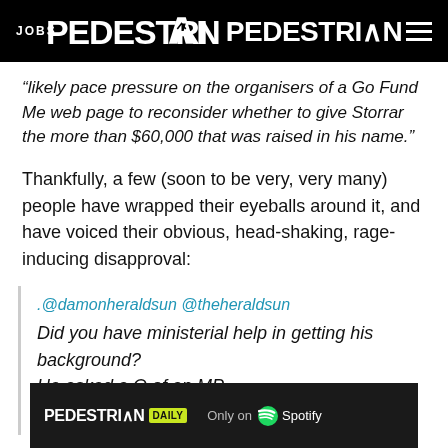JOBS | PEDESTRIAN | menu
“likely pace pressure on the organisers of a Go Fund Me web page to reconsider whether to give Storrar the more than $60,000 that was raised in his name.”
Thankfully, a few (soon to be very, very many) people have wrapped their eyeballs around it, and have voiced their obvious, head-shaking, rage-inducing disapproval:
.@damonheraldsun @theheraldsun
Did you have ministerial help in getting his background?
He asked a Q of an MP.
You destroy him?
[Figure (other): PEDESTRIAN DAILY - Only on Spotify advertisement banner at the bottom of the page]